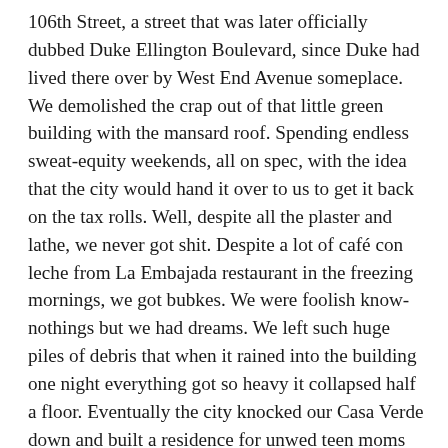106th Street, a street that was later officially dubbed Duke Ellington Boulevard, since Duke had lived there over by West End Avenue someplace. We demolished the crap out of that little green building with the mansard roof. Spending endless sweat-equity weekends, all on spec, with the idea that the city would hand it over to us to get it back on the tax rolls. Well, despite all the plaster and lathe, we never got shit. Despite a lot of café con leche from La Embajada restaurant in the freezing mornings, we got bubkes. We were foolish know-nothings but we had dreams. We left such huge piles of debris that when it rained into the building one night everything got so heavy it collapsed half a floor. Eventually the city knocked our Casa Verde down and built a residence for unwed teen moms there and that casa was dedicated by Princess Di.